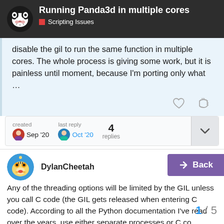Running Panda3d in multiple cores — Scripting Issues
disable the gil to run the same function in multiple cores. The whole process is giving some work, but it is painless until moment, because I'm porting only what …
created Sep '20   last reply Oct '20   4 replies
DylanCheetah   Sep '20
Any of the threading options will be limited by the GIL unless you call C code (the GIL gets released when entering C code). According to all the Python documentation I've read over the years, use either separate processes or C co